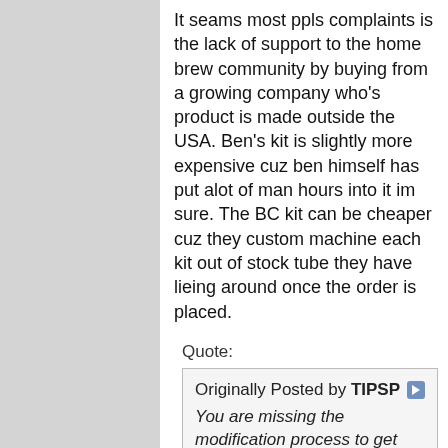It seams most ppls complaints is the lack of support to the home brew community by buying from a growing company who's product is made outside the USA. Ben's kit is slightly more expensive cuz ben himself has put alot of man hours into it im sure. The BC kit can be cheaper cuz they custom machine each kit out of stock tube they have lieing around once the order is placed.
Quote:
Originally Posted by TIPSP
You are missing the modification process to get the BCs